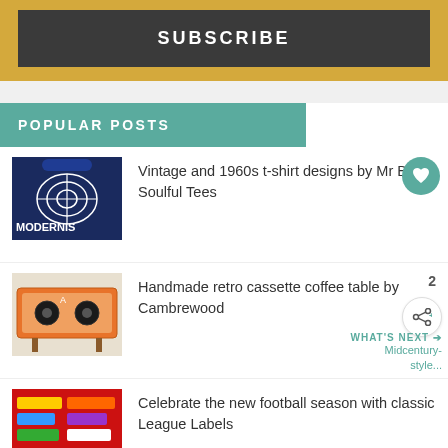SUBSCRIBE
POPULAR POSTS
Vintage and 1960s t-shirt designs by Mr B's Soulful Tees
Handmade retro cassette coffee table by Cambrewood
Celebrate the new football season with classic League Labels